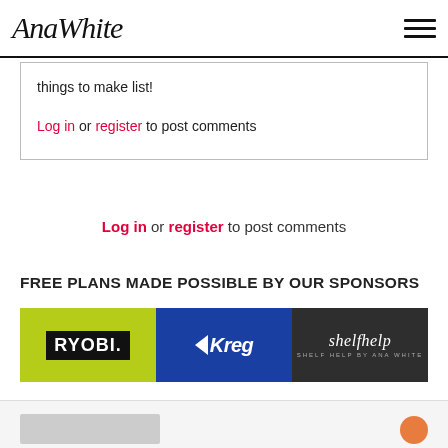AnaWhite
things to make list!
Log in or register to post comments
Log in or register to post comments
FREE PLANS MADE POSSIBLE BY OUR SPONSORS
[Figure (logo): Sponsor logos banner showing RYOBI (yellow-green), Kreg (blue), and shelfhelp (dark grey) logos side by side]